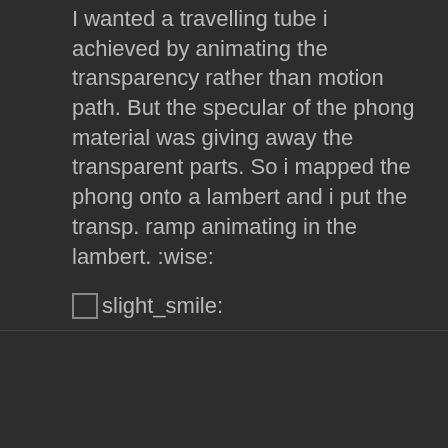I wanted a travelling tube i achieved by animating the transparency rather than motion path. But the specular of the phong material was giving away the transparent parts. So i mapped the phong onto a lambert and i put the transp. ramp animating in the lambert. :wise:
:slight_smile:
[Figure (other): Heart icon and link/chain icon as post action buttons]
[Figure (other): User avatar circle with letter T in purple/lavender color]
theystared
New Member
I am a big fan of the MJPolyToo
Back
362/562